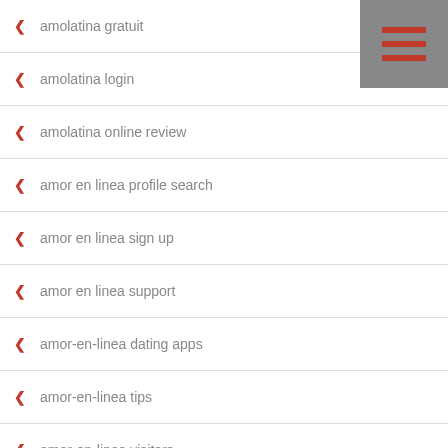amolatina gratuit
amolatina login
amolatina online review
amor en linea profile search
amor en linea sign up
amor en linea support
amor-en-linea dating apps
amor-en-linea tips
amor-en-linea visitors
Anal Guys Web Cams Chat Rooms
Anastasia date how to delete account
Anastasia date profile search